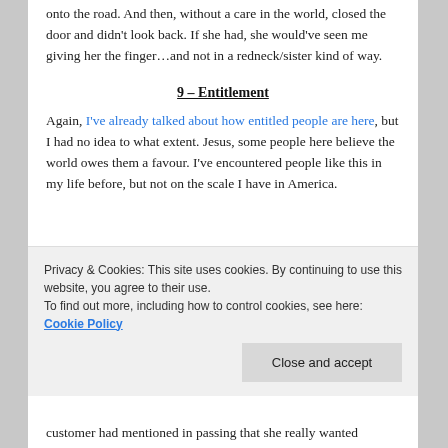onto the road. And then, without a care in the world, closed the door and didn't look back.  If she had, she would've seen me giving her the finger…and not in a redneck/sister kind of way.
9 – Entitlement
Again, I've already talked about how entitled people are here, but I had no idea to what extent.  Jesus, some people here believe the world owes them a favour.  I've encountered people like this in my life before, but not on the scale I have in America.
Privacy & Cookies: This site uses cookies. By continuing to use this website, you agree to their use.
To find out more, including how to control cookies, see here: Cookie Policy
customer had mentioned in passing that she really wanted